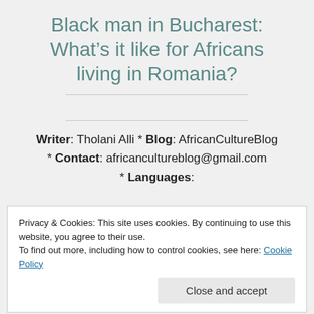Black man in Bucharest: What's it like for Africans living in Romania?
Writer: Tholani Alli * Blog: AfricanCultureBlog * Contact: africancultureblog@gmail.com * Languages:
Privacy & Cookies: This site uses cookies. By continuing to use this website, you agree to their use. To find out more, including how to control cookies, see here: Cookie Policy
Close and accept